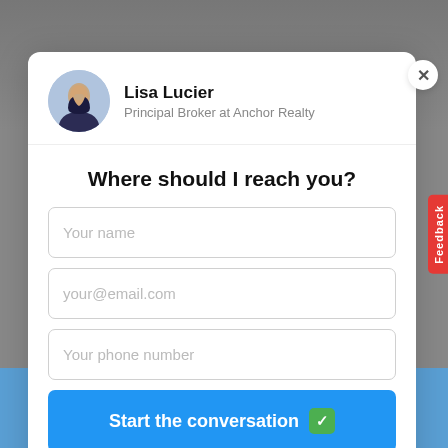[Figure (photo): Profile photo of Lisa Lucier, a woman with dark hair wearing a white jacket, circular avatar]
Lisa Lucier
Principal Broker at Anchor Realty
Where should I reach you?
Your name
your@email.com
Your phone number
Start the conversation ✅
We won't spam you, this information goes directly to our human agents.